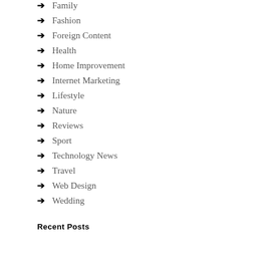Family
Fashion
Foreign Content
Health
Home Improvement
Internet Marketing
Lifestyle
Nature
Reviews
Sport
Technology News
Travel
Web Design
Wedding
Recent Posts